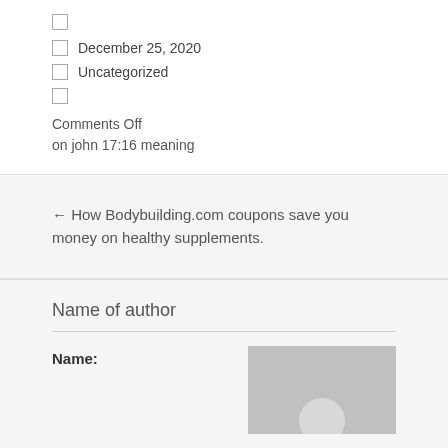□
□  December 25, 2020
□  Uncategorized
□
Comments Off
on john 17:16 meaning
← How Bodybuilding.com coupons save you money on healthy supplements.
Name of author
Name: